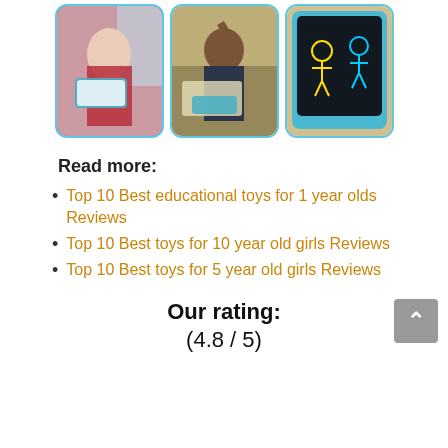[Figure (photo): Three photos side by side: a girl using an LCD writing tablet on an airplane, a boy raising his hand in a classroom with the tablet on the desk, and a hand holding the LCD writing tablet showing colorful drawings.]
Read more:
Top 10 Best educational toys for 1 year olds Reviews
Top 10 Best toys for 10 year old girls Reviews
Top 10 Best toys for 5 year old girls Reviews
Our rating:
(4.8 / 5)